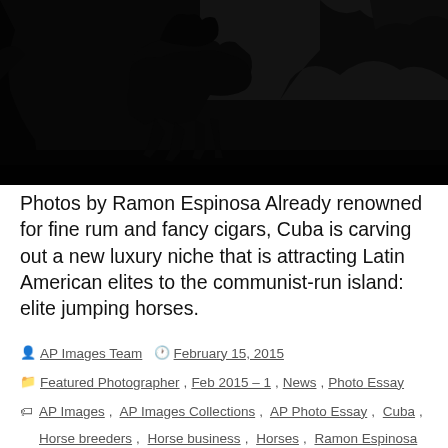[Figure (photo): Silhouette of a horse and rider jumping against a dark sky with trees in the background, high contrast black and white photograph]
Photos by Ramon Espinosa Already renowned for fine rum and fancy cigars, Cuba is carving out a new luxury niche that is attracting Latin American elites to the communist-run island: elite jumping horses.
AP Images Team  February 15, 2015  Featured Photographer, Feb 2015 – 1, News, Photo Essay  AP Images, AP Images Collections, AP Photo Essay, Cuba, Horse breeders, Horse business, Horses, Ramon Espinosa  1 Comment